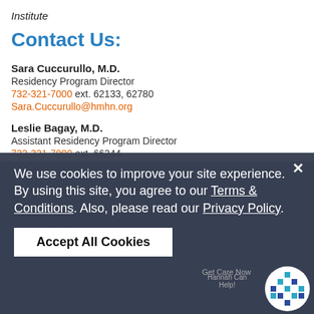Institute
Contact Us:
Sara Cuccurullo, M.D.
Residency Program Director
732-321-7000 ext. 62133, 62780
Sara.Cuccurullo@hmhn.org
Leslie Bagay, M.D.
Assistant Residency Program Director
732-321-7000 ext. 66244
Leslie.Bagay@hmhn.org
Beverly Bolger, PM&R
Residency Program Coordinator
732-321-7000 ext. 62133
Beverly.Bolger@hmhn.org
[Figure (screenshot): Cookie consent overlay: 'We use cookies to improve your site experience. By using this site, you agree to our Terms & Conditions. Also, please read our Privacy Policy.' with 'Accept All Cookies' button and close X button. A chatbot icon (Hannah Can Help) appears in lower right.]